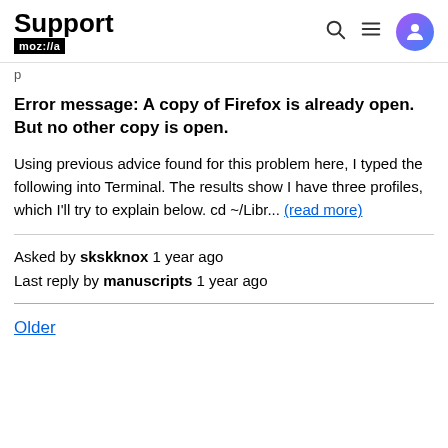Support moz://a
p
Error message: A copy of Firefox is already open. But no other copy is open.
Using previous advice found for this problem here, I typed the following into Terminal. The results show I have three profiles, which I'll try to explain below. cd ~/Libr... (read more)
Asked by skskknox 1 year ago
Last reply by manuscripts 1 year ago
Older